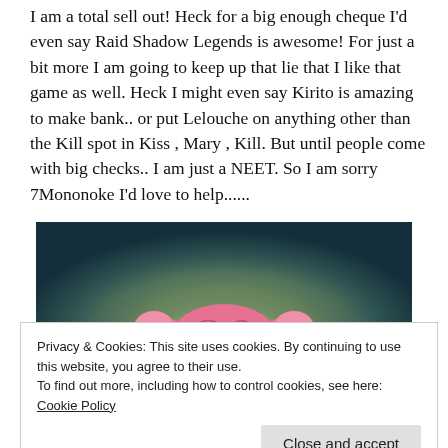I am a total sell out!  Heck for a big enough cheque I'd even say Raid Shadow Legends is awesome! For just a bit more I am going to keep up that lie that I like that game as well. Heck I might even say Kirito is amazing to make bank.. or put Lelouche on anything other than the Kill spot in Kiss , Mary , Kill. But until people come with big checks.. I am just a NEET. So I am sorry 7Mononoke I'd love to help......
[Figure (illustration): Anime character with pink twintails hair, showing only the top half of face with half-closed eyes, against a dark teal and light yellow-green glowing background]
Privacy & Cookies: This site uses cookies. By continuing to use this website, you agree to their use.
To find out more, including how to control cookies, see here: Cookie Policy